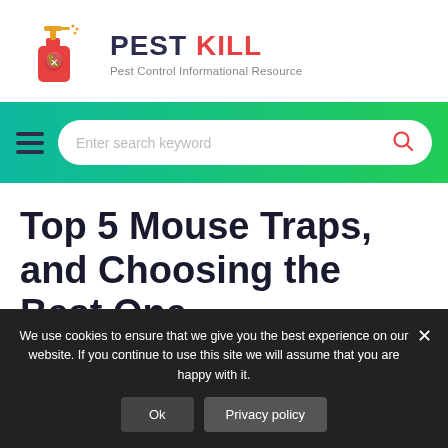[Figure (logo): Pest Kill website logo with red spray bottle illustration and text PEST KILL, Pest Control Informational Resource]
[Figure (screenshot): Green gradient navigation bar with hamburger menu icon and search bar with placeholder 'Enter search keyword' and red search icon]
Top 5 Mouse Traps, and Choosing the Best One
We use cookies to ensure that we give you the best experience on our website. If you continue to use this site we will assume that you are happy with it.